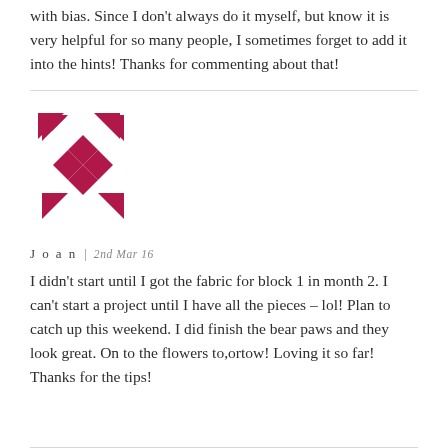with bias. Since I don't always do it myself, but know it is very helpful for so many people, I sometimes forget to add it into the hints! Thanks for commenting about that!
[Figure (logo): Decorative quilt block logo in dark pink/crimson, showing a pinwheel or bear paw quilt pattern made of diamond and arrow shapes]
Joan  |  2nd Mar 16
I didn't start until I got the fabric for block 1 in month 2. I can't start a project until I have all the pieces – lol! Plan to catch up this weekend. I did finish the bear paws and they look great. On to the flowers to,ortow! Loving it so far! Thanks for the tips!